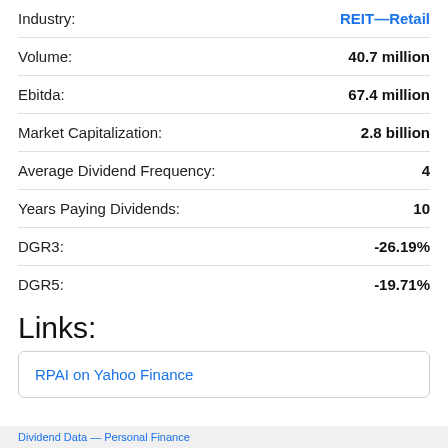Industry: REIT—Retail
Volume: 40.7 million
Ebitda: 67.4 million
Market Capitalization: 2.8 billion
Average Dividend Frequency: 4
Years Paying Dividends: 10
DGR3: -26.19%
DGR5: -19.71%
Links:
RPAI on Yahoo Finance
Dividend Data — Personal Finance